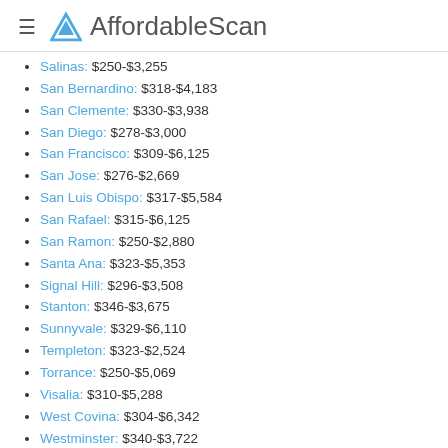AffordableScan
Salinas: $250-$3,255
San Bernardino: $318-$4,183
San Clemente: $330-$3,938
San Diego: $278-$3,000
San Francisco: $309-$6,125
San Jose: $276-$2,669
San Luis Obispo: $317-$5,584
San Rafael: $315-$6,125
San Ramon: $250-$2,880
Santa Ana: $323-$5,353
Signal Hill: $296-$3,508
Stanton: $346-$3,675
Sunnyvale: $329-$6,110
Templeton: $323-$2,524
Torrance: $250-$5,069
Visalia: $310-$5,288
West Covina: $304-$6,342
Westminster: $340-$3,722
Insured MRI scan cost Inglewood